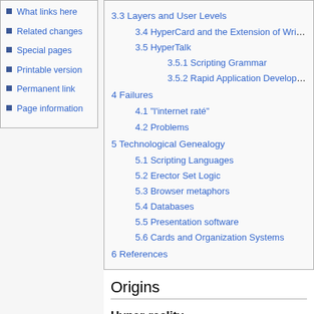What links here
Related changes
Special pages
Printable version
Permanent link
Page information
3.3 Layers and User Levels
3.4 HyperCard and the Extension of Writing
3.5 HyperTalk
3.5.1 Scripting Grammar
3.5.2 Rapid Application Development
4 Failures
4.1 "l'internet raté"
4.2 Problems
5 Technological Genealogy
5.1 Scripting Languages
5.2 Erector Set Logic
5.3 Browser metaphors
5.4 Databases
5.5 Presentation software
5.6 Cards and Organization Systems
6 References
Origins
Hyper-reality
Error creating thumbnail: Unable to save thumbnail to